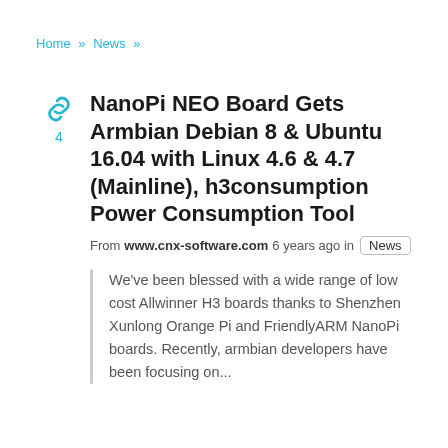Home » News »
NanoPi NEO Board Gets Armbian Debian 8 & Ubuntu 16.04 with Linux 4.6 & 4.7 (Mainline), h3consumption Power Consumption Tool
From www.cnx-software.com 6 years ago in News
We've been blessed with a wide range of low cost Allwinner H3 boards thanks to Shenzhen Xunlong Orange Pi and FriendlyARM NanoPi boards. Recently, armbian developers have been focusing on...